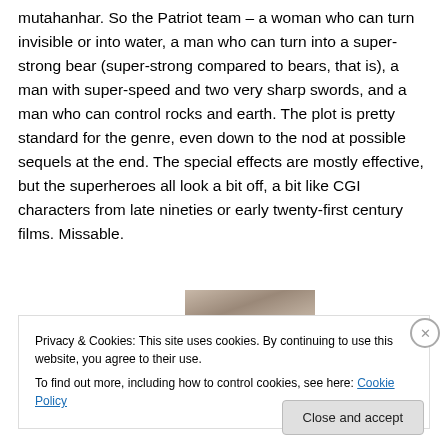mutahanhar. So the Patriot team – a woman who can turn invisible or into water, a man who can turn into a super-strong bear (super-strong compared to bears, that is), a man with super-speed and two very sharp swords, and a man who can control rocks and earth. The plot is pretty standard for the genre, even down to the nod at possible sequels at the end. The special effects are mostly effective, but the superheroes all look a bit off, a bit like CGI characters from late nineties or early twenty-first century films. Missable.
[Figure (photo): Partial photo of a person visible at the top of the cookie banner area]
Privacy & Cookies: This site uses cookies. By continuing to use this website, you agree to their use.
To find out more, including how to control cookies, see here: Cookie Policy
Close and accept